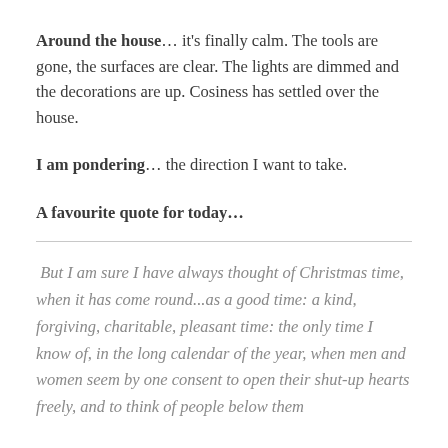Around the house… it's finally calm. The tools are gone, the surfaces are clear. The lights are dimmed and the decorations are up. Cosiness has settled over the house.
I am pondering… the direction I want to take.
A favourite quote for today…
But I am sure I have always thought of Christmas time, when it has come round...as a good time: a kind, forgiving, charitable, pleasant time: the only time I know of, in the long calendar of the year, when men and women seem by one consent to open their shut-up hearts freely, and to think of people below them